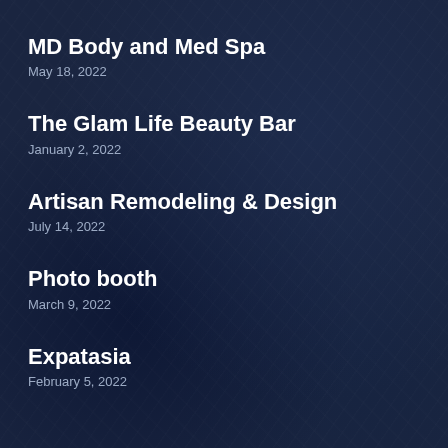MD Body and Med Spa
May 18, 2022
The Glam Life Beauty Bar
January 2, 2022
Artisan Remodeling & Design
July 14, 2022
Photo booth
March 9, 2022
Expatasia
February 5, 2022